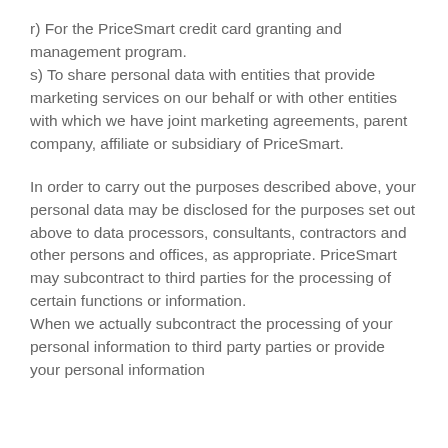r) For the PriceSmart credit card granting and management program.
s) To share personal data with entities that provide marketing services on our behalf or with other entities with which we have joint marketing agreements, parent company, affiliate or subsidiary of PriceSmart.
In order to carry out the purposes described above, your personal data may be disclosed for the purposes set out above to data processors, consultants, contractors and other persons and offices, as appropriate. PriceSmart may subcontract to third parties for the processing of certain functions or information.
When we actually subcontract the processing of your personal information to third party parties or provide your personal information